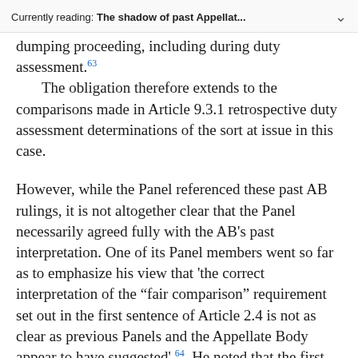Currently reading: The shadow of past Appellat...
dumping proceeding, including during duty assessment. 63 The obligation therefore extends to the comparisons made in Article 9.3.1 retrospective duty assessment determinations of the sort at issue in this case.
However, while the Panel referenced these past AB rulings, it is not altogether clear that the Panel necessarily agreed fully with the AB's past interpretation. One of its Panel members went so far as to emphasize his view that 'the correct interpretation of the "fair comparison" requirement set out in the first sentence of Article 2.4 is not as clear as previous Panels and the Appellate Body appear to have suggested'. 64 He noted that the first sentence of the chapeau must be interpreted in light of the context of the rest of the chapeau, including the last sentence which also makes reference to a 'fair comparison'. In his opinion, an